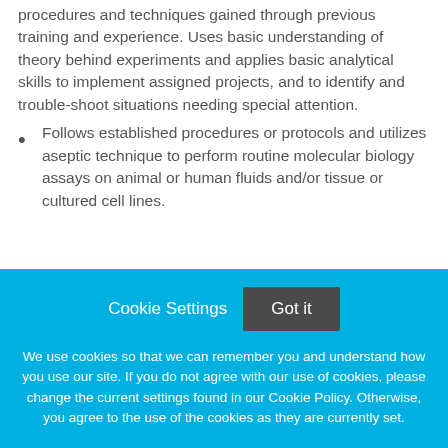procedures and techniques gained through previous training and experience. Uses basic understanding of theory behind experiments and applies basic analytical skills to implement assigned projects, and to identify and trouble-shoot situations needing special attention.
Follows established procedures or protocols and utilizes aseptic technique to perform routine molecular biology assays on animal or human fluids and/or tissue or cultured cell lines.
Cookie Settings   Got it
We use cookies so that we can remember you and understand how you use our site. If you do not agree with our use of cookies, please change the current settings found in our Cookie Policy. Otherwise, you agree to the use of the cookies as they are currently set.